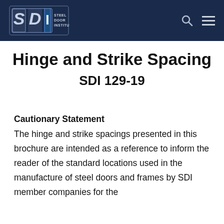Steel Door Institute — SDI Logo header navigation
Hinge and Strike Spacing
SDI 129-19
Cautionary Statement
The hinge and strike spacings presented in this brochure are intended as a reference to inform the reader of the standard locations used in the manufacture of steel doors and frames by SDI member companies for the